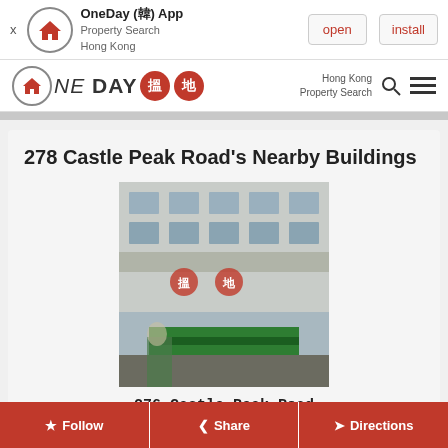OneDay (韓) App — Property Search Hong Kong | open | install
[Figure (logo): OneDay 搵地 logo with house icon in circle, text ONE DAY with two red Chinese character badges]
278 Castle Peak Road's Nearby Buildings
[Figure (photo): Photo of 276 Castle Peak Road building exterior, multi-storey older residential/commercial building]
276 Castle Peak Road
276 Castle Peak Road
Cheung Sha Wan, Kowloon
Follow | Share | Directions